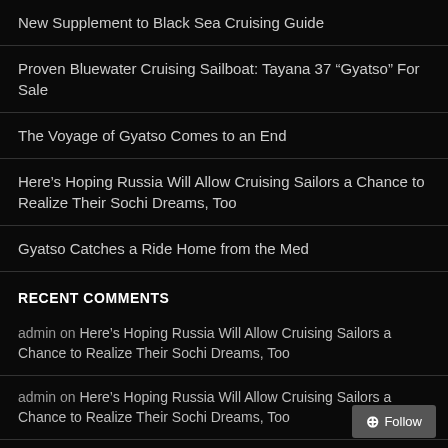New Supplement to Black Sea Cruising Guide
Proven Bluewater Cruising Sailboat: Tayana 37 “Gyatso” For Sale
The Voyage of Gyatso Comes to an End
Here’s Hoping Russia Will Allow Cruising Sailors a Chance to Realize Their Sochi Dreams, Too
Gyatso Catches a Ride Home from the Med
RECENT COMMENTS
admin on Here’s Hoping Russia Will Allow Cruising Sailors a Chance to Realize Their Sochi Dreams, Too
admin on Here’s Hoping Russia Will Allow Cruising Sailors a Chance to Realize Their Sochi Dreams, Too
Lisa Borre on The Voyage of Gyatso Comes to an End